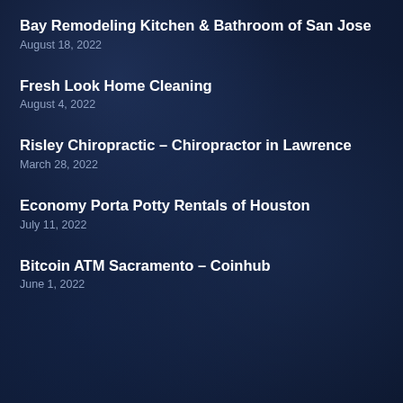Bay Remodeling Kitchen & Bathroom of San Jose
August 18, 2022
Fresh Look Home Cleaning
August 4, 2022
Risley Chiropractic – Chiropractor in Lawrence
March 28, 2022
Economy Porta Potty Rentals of Houston
July 11, 2022
Bitcoin ATM Sacramento – Coinhub
June 1, 2022